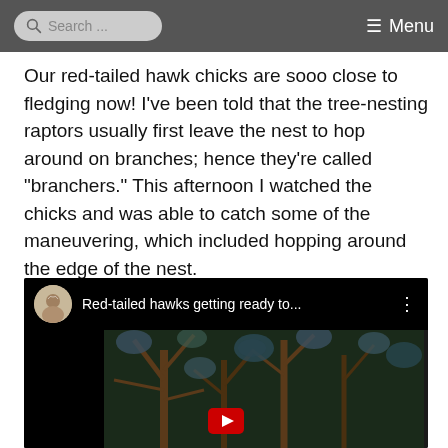Search ... Menu
Our red-tailed hawk chicks are sooo close to fledging now! I've been told that the tree-nesting raptors usually first leave the nest to hop around on branches; hence they're called "branchers." This afternoon I watched the chicks and was able to catch some of the maneuvering, which included hopping around the edge of the nest.
[Figure (screenshot): Embedded video player showing a YouTube video titled 'Red-tailed hawks getting ready to...' with a circular avatar thumbnail on the left, a three-dot menu icon on the right, and a video frame showing tree branches against a dark background with a red play button at the bottom.]